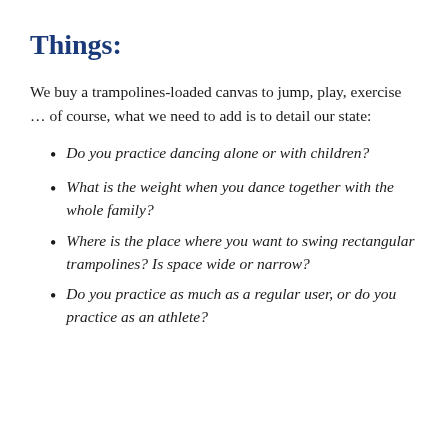Things:
We buy a trampolines-loaded canvas to jump, play, exercise … of course, what we need to add is to detail our state:
Do you practice dancing alone or with children?
What is the weight when you dance together with the whole family?
Where is the place where you want to swing rectangular trampolines? Is space wide or narrow?
Do you practice as much as a regular user, or do you practice as an athlete?